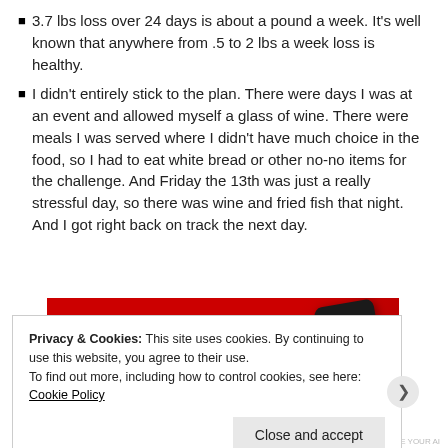3.7 lbs loss over 24 days is about a pound a week. It's well known that anywhere from .5 to 2 lbs a week loss is healthy.
I didn't entirely stick to the plan. There were days I was at an event and allowed myself a glass of wine. There were meals I was served where I didn't have much choice in the food, so I had to eat white bread or other no-no items for the challenge. And Friday the 13th was just a really stressful day, so there was wine and fried fish that night. And I got right back on track the next day.
[Figure (photo): Red background advertisement image with a dark smartphone device visible, partially cropped, and a white circle element at bottom center.]
Privacy & Cookies: This site uses cookies. By continuing to use this website, you agree to their use. To find out more, including how to control cookies, see here: Cookie Policy
Close and accept